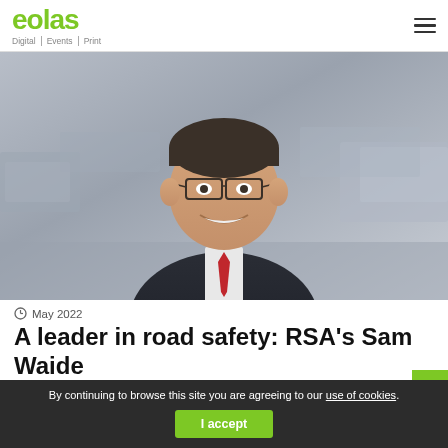eolas — Digital | Events | Print
[Figure (photo): Portrait photo of a middle-aged man in a dark suit and red tie with glasses, smiling, with a blurred urban street background.]
May 2022
A leader in road safety: RSA's Sam Waide
By continuing to browse this site you are agreeing to our use of cookies. I accept